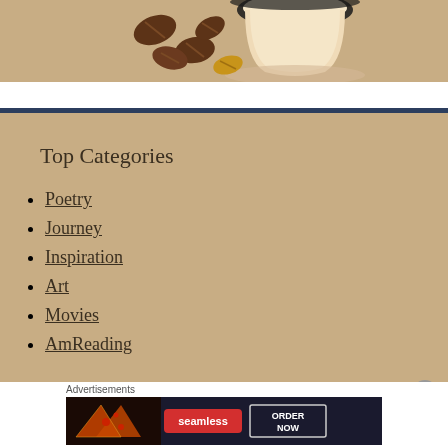[Figure (illustration): Top portion of a coffee-themed illustration with coffee cup and coffee beans on a tan/beige background]
Top Categories
Poetry
Journey
Inspiration
Art
Movies
AmReading
Advertisements
[Figure (screenshot): Seamless food delivery advertisement banner with pizza image, seamless logo, and ORDER NOW button]